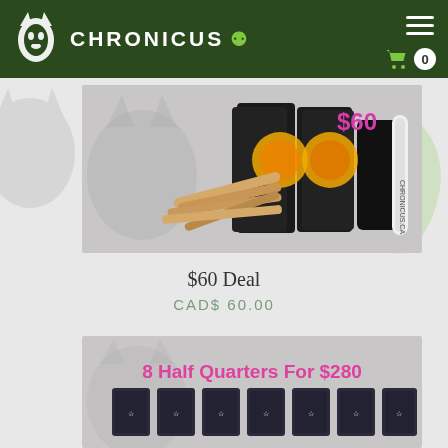CHRONICUS
[Figure (photo): Product photo showing cannabis pre-rolls and packages with '$60' price label in pink]
$60 Deal
CAD$ 60.00
[Figure (photo): Product photo showing multiple cannabis packages with '8 Half Quarters For $280' label in pink bold text]